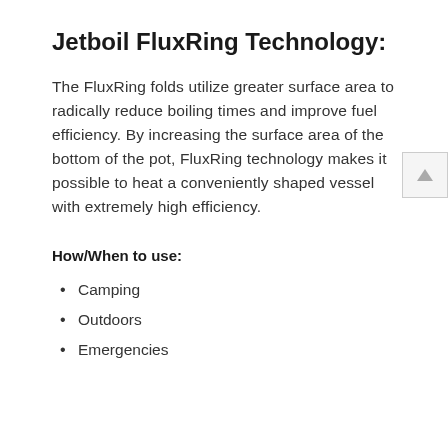Jetboil FluxRing Technology:
The FluxRing folds utilize greater surface area to radically reduce boiling times and improve fuel efficiency. By increasing the surface area of the bottom of the pot, FluxRing technology makes it possible to heat a conveniently shaped vessel with extremely high efficiency.
How/When to use:
Camping
Outdoors
Emergencies